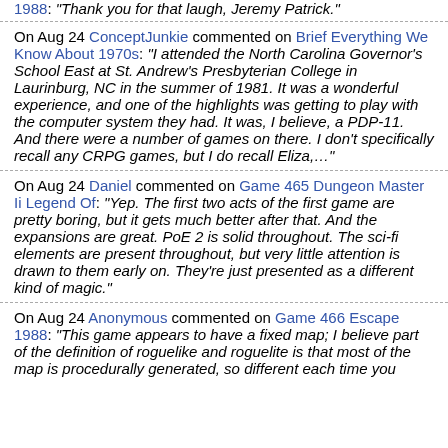1988: "Thank you for that laugh, Jeremy Patrick."
On Aug 24 ConceptJunkie commented on Brief Everything We Know About 1970s: "I attended the North Carolina Governor's School East at St. Andrew's Presbyterian College in Laurinburg, NC in the summer of 1981. It was a wonderful experience, and one of the highlights was getting to play with the computer system they had. It was, I believe, a PDP-11. And there were a number of games on there. I don't specifically recall any CRPG games, but I do recall Eliza,…"
On Aug 24 Daniel commented on Game 465 Dungeon Master Ii Legend Of: "Yep. The first two acts of the first game are pretty boring, but it gets much better after that. And the expansions are great. PoE 2 is solid throughout. The sci-fi elements are present throughout, but very little attention is drawn to them early on. They're just presented as a different kind of magic."
On Aug 24 Anonymous commented on Game 466 Escape 1988: "This game appears to have a fixed map; I believe part of the definition of roguelike and roguelite is that most of the map is procedurally generated, so different each time you"